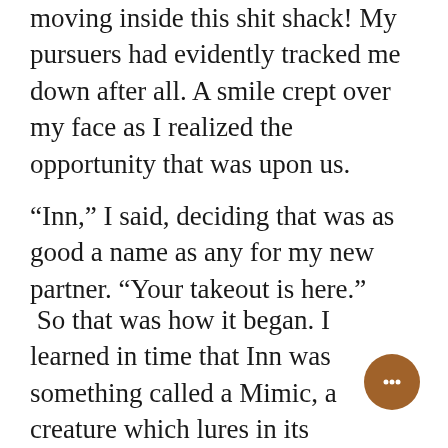moving inside this shit shack! My pursuers had evidently tracked me down after all. A smile crept over my face as I realized the opportunity that was upon us.
“Inn,” I said, deciding that was as good a name as any for my new partner. “Your takeout is here.”
So that was how it began. I learned in time that Inn was something called a Mimic, a creature which lures in its prey by shapeshifting into something mundane. They typically took the form of treasure chests and doors, though. Inn was ancient, and